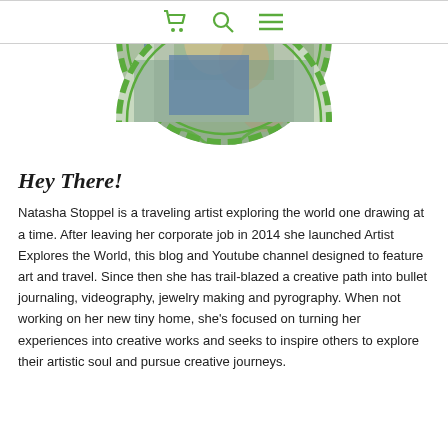[Figure (photo): Circular profile photo of artist Natasha Stoppel with a green decorative circular frame/border, showing a painting scene with figures]
Navigation bar with shopping cart icon, search icon, and hamburger menu icon in green
Hey There!
Natasha Stoppel is a traveling artist exploring the world one drawing at a time. After leaving her corporate job in 2014 she launched Artist Explores the World, this blog and Youtube channel designed to feature art and travel. Since then she has trail-blazed a creative path into bullet journaling, videography, jewelry making and pyrography. When not working on her new tiny home, she’s focused on turning her experiences into creative works and seeks to inspire others to explore their artistic soul and pursue creative journeys.